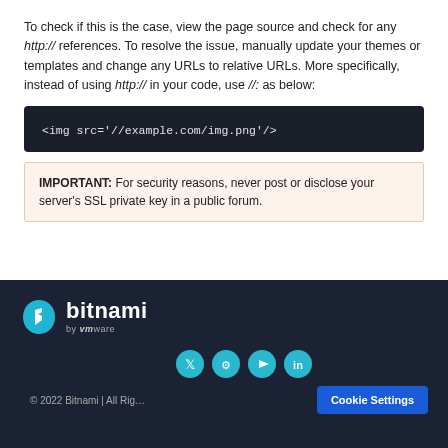To check if this is the case, view the page source and check for any http:// references. To resolve the issue, manually update your themes or templates and change any URLs to relative URLs. More specifically, instead of using http:// in your code, use //: as below:
<img src='//example.com/img.png'/>
IMPORTANT: For security reasons, never post or disclose your server's SSL private key in a public forum.
[Figure (logo): Bitnami by VMware logo in white on dark navy background]
[Figure (infographic): Social media icons: Twitter, GitHub, YouTube, LinkedIn — teal circles]
© 2022 Bitnami | All Rig...